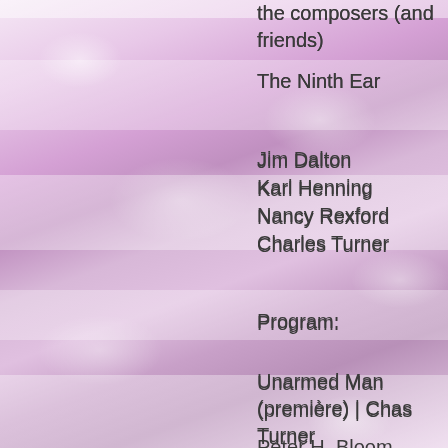the composers (and friends)
The Ninth Ear
Jim Dalton
Karl Henning
Nancy Rexford
Charles Turner
Program:
Unarmed Man (première) | Chas Turner
Peter H. Bloom, piccolo
Karl Henning, clarinet
Chas Turner, contrabass
Gifts of the Bard | Jim Dalton
Jim Dalton, mandolin